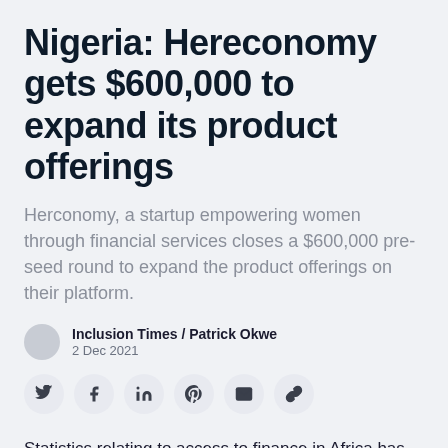Nigeria: Hereconomy gets $600,000 to expand its product offerings
Herconomy, a startup empowering women through financial services closes a $600,000 pre-seed round to expand the product offerings on their platform.
Inclusion Times / Patrick Okwe
2 Dec 2021
[Figure (other): Social sharing icons: Twitter, Facebook, LinkedIn, Pinterest, Email, Link]
Statistics relating to access to finance in Africa has been deplorable. It's even worst when you look at the number of women with